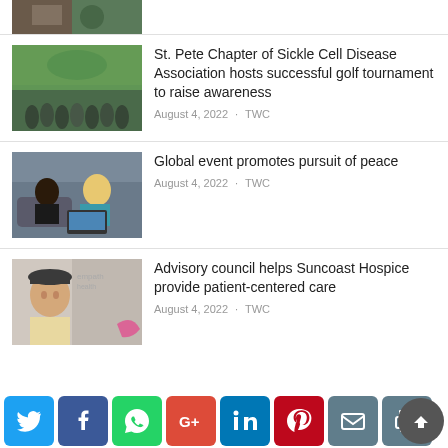[Figure (photo): Partial top image of people at an outdoor event]
St. Pete Chapter of Sickle Cell Disease Association hosts successful golf tournament to raise awareness
August 4, 2022 · TWC
[Figure (photo): Two people sitting at a laptop computer]
Global event promotes pursuit of peace
August 4, 2022 · TWC
[Figure (photo): Man in hat in front of Empath Health banner]
Advisory council helps Suncoast Hospice provide patient-centered care
August 4, 2022 · TWC
Social share buttons: Twitter, Facebook, WhatsApp, Google+, LinkedIn, Pinterest, Email, Print, Scroll to top